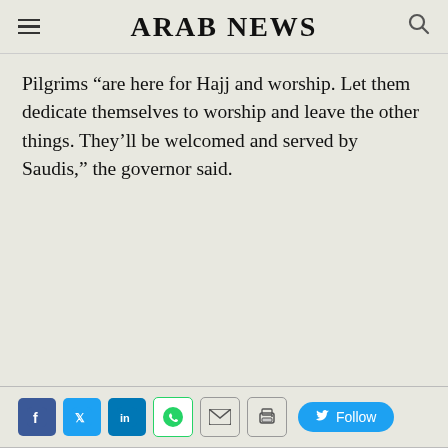ARAB NEWS
Pilgrims “are here for Hajj and worship. Let them dedicate themselves to worship and leave the other things. They’ll be welcomed and served by Saudis,” the governor said.
[Figure (other): Social media sharing icons: Facebook, Twitter, LinkedIn, WhatsApp, Email, Print, and a Twitter Follow button]